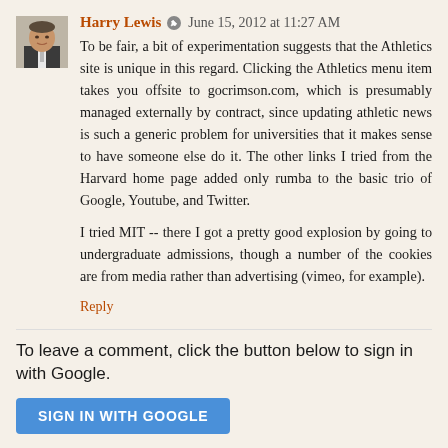[Figure (photo): Avatar photo of Harry Lewis, a man in a suit]
Harry Lewis  June 15, 2012 at 11:27 AM
To be fair, a bit of experimentation suggests that the Athletics site is unique in this regard. Clicking the Athletics menu item takes you offsite to gocrimson.com, which is presumably managed externally by contract, since updating athletic news is such a generic problem for universities that it makes sense to have someone else do it. The other links I tried from the Harvard home page added only rumba to the basic trio of Google, Youtube, and Twitter.
I tried MIT -- there I got a pretty good explosion by going to undergraduate admissions, though a number of the cookies are from media rather than advertising (vimeo, for example).
Reply
To leave a comment, click the button below to sign in with Google.
SIGN IN WITH GOOGLE